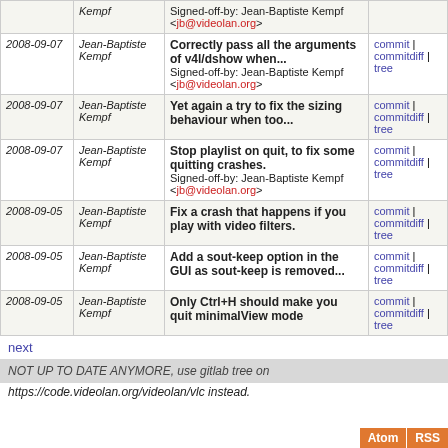| Date | Author | Commit | Links |
| --- | --- | --- | --- |
|  | Kempf | Signed-off-by: Jean-Baptiste Kempf <jb@videolan.org> |  |
| 2008-09-07 | Jean-Baptiste Kempf | Correctly pass all the arguments of v4l/dshow when...
Signed-off-by: Jean-Baptiste Kempf <jb@videolan.org> | commit | commitdiff | tree |
| 2008-09-07 | Jean-Baptiste Kempf | Yet again a try to fix the sizing behaviour when too... | commit | commitdiff | tree |
| 2008-09-07 | Jean-Baptiste Kempf | Stop playlist on quit, to fix some quitting crashes.
Signed-off-by: Jean-Baptiste Kempf <jb@videolan.org> | commit | commitdiff | tree |
| 2008-09-05 | Jean-Baptiste Kempf | Fix a crash that happens if you play with video filters. | commit | commitdiff | tree |
| 2008-09-05 | Jean-Baptiste Kempf | Add a sout-keep option in the GUI as sout-keep is removed... | commit | commitdiff | tree |
| 2008-09-05 | Jean-Baptiste Kempf | Only Ctrl+H should make you quit minimalView mode | commit | commitdiff | tree |
next
NOT UP TO DATE ANYMORE, use gitlab tree on
https://code.videolan.org/videolan/vlc instead.